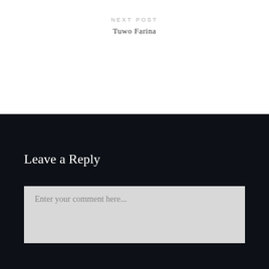NEXT POST
Tuwo Farina
Leave a Reply
Enter your comment here...